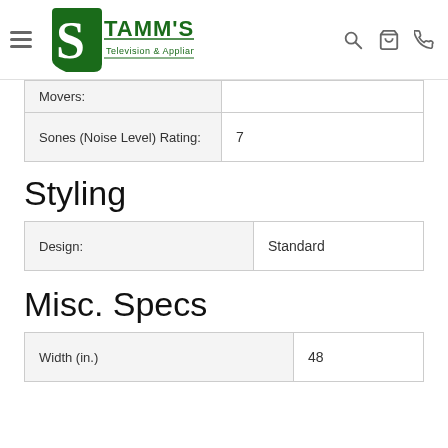Stamm's Television & Appliances
| Movers: |  |
| --- | --- |
| Movers: |  |
| Sones (Noise Level) Rating: | 7 |
Styling
| Design: | Standard |
| --- | --- |
| Design: | Standard |
Misc. Specs
| Width (in.) | 48 |
| --- | --- |
| Width (in.) | 48 |